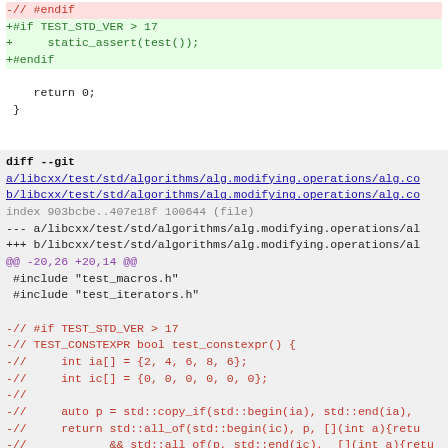- // #endif
+#if TEST_STD_VER > 17
+     static_assert(test());
+#endif

    return 0;
 }
diff --git a/libcxx/test/std/algorithms/alg.modifying.operations/alg.co b/libcxx/test/std/algorithms/alg.modifying.operations/alg.co
index 903bcbe..407e18f 100644 (file)
--- a/libcxx/test/std/algorithms/alg.modifying.operations/al
+++ b/libcxx/test/std/algorithms/alg.modifying.operations/al
@@ -20,26 +20,14 @@
 #include "test_macros.h"
 #include "test_iterators.h"

-// #if TEST_STD_VER > 17
-// TEST_CONSTEXPR bool test_constexpr() {
-//     int ia[] = {2, 4, 6, 8, 6};
-//     int ic[] = {0, 0, 0, 0, 0, 0};
-//
-//     auto p = std::copy_if(std::begin(ia), std::end(ia),
-//     return std::all_of(std::begin(ic), p, [](int a){retu
-//            && std::all_of(p, std::end(ic),  [](int a){retu
-//            ;
-//     }
-// #endif
-
 struct Pred
 {